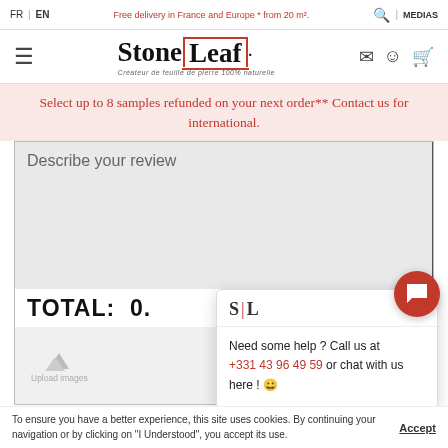FR | EN   Free delivery in France and Europe * from 20 m².   🔍 | MEDIAS
Stone Leaf. Créateur de feuille de pierre 100% naturelle
Select up to 8 samples refunded on your next order** Contact us for international.
Describe your review
TOTAL: 0.
Upload images
ADD TO MY BAG
[Figure (screenshot): Stone Leaf chat popup widget showing logo 'S|L', close button, help text 'Need some help ? Call us at +331 43 96 49 59 or chat with us here !' and a red chat bubble icon]
To ensure you have a better experience, this site uses cookies. By continuing your navigation or by clicking on "I Understood", you accept its use.   Accept